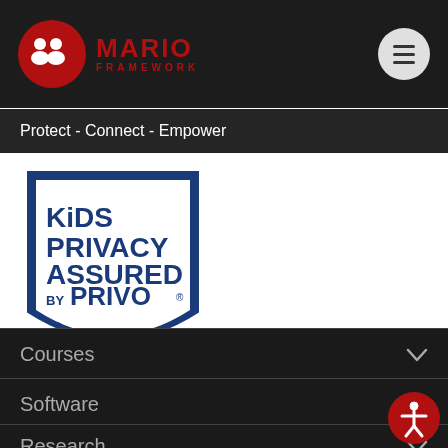[Figure (logo): MARIO Framework logo with red circle containing people icon and red text MARIO FRAMEWORK]
Protect - Connect - Empower
[Figure (logo): Kids Privacy Assured by PRIVO shield badge]
Courses
Software
Research